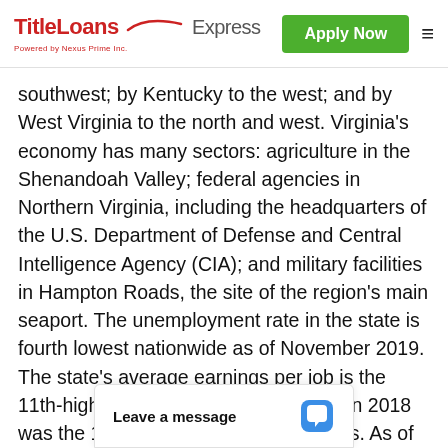TitleLoans Express — Powered by Nexus Prime Inc. | Apply Now
southwest; by Kentucky to the west; and by West Virginia to the north and west. Virginia's economy has many sectors: agriculture in the Shenandoah Valley; federal agencies in Northern Virginia, including the headquarters of the U.S. Department of Defense and Central Intelligence Agency (CIA); and military facilities in Hampton Roads, the site of the region's main seaport. The unemployment rate in the state is fourth lowest nationwide as of November 2019. The state's average earnings per job is the 11th-highest nationwide and the GDP in 2018 was the 13th-largest among U.S. states. As of 2019, six of the twenty highest-income counties in the United States, including the two highest, as well as three of the fifty highest-income towns are all located in Northern Virginia. [sou